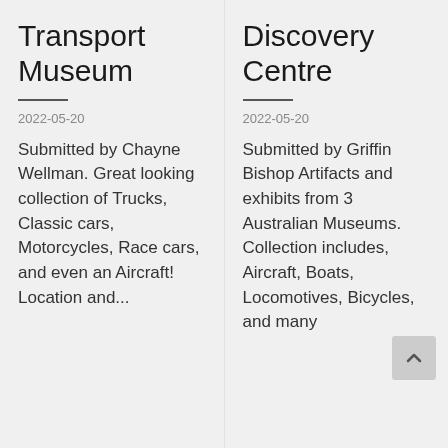Transport Museum
2022-05-20
Submitted by Chayne Wellman. Great looking collection of Trucks, Classic cars, Motorcycles, Race cars, and even an Aircraft! Location and...
Discovery Centre
2022-05-20
Submitted by Griffin Bishop Artifacts and exhibits from 3 Australian Museums. Collection includes, Aircraft, Boats, Locomotives, Bicycles, and many